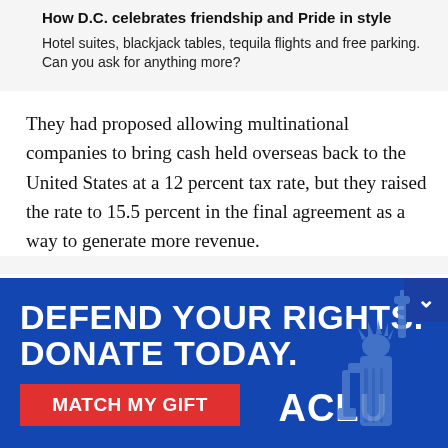How D.C. celebrates friendship and Pride in style
Hotel suites, blackjack tables, tequila flights and free parking. Can you ask for anything more?
They had proposed allowing multinational companies to bring cash held overseas back to the United States at a 12 percent tax rate, but they raised the rate to 15.5 percent in the final agreement as a way to generate more revenue.
They opted against imposing taxes that would have hit
[Figure (infographic): ACLU banner advertisement with blue background. Text reads 'DEFEND YOUR RIGHTS. DONATE TODAY.' with a red 'MATCH MY GIFT' button and ACLU logo. Statue of Liberty illustration on the right. Dismiss arrow button in top right corner.]